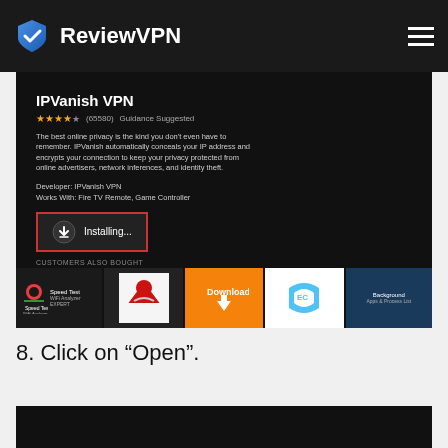ReviewVPN
[Figure (screenshot): IPVanish VPN app page on Amazon Fire TV showing app title, 4.5 star rating (65580 reviews), Guidance Suggested label, app description about online privacy, Developer IPVanish VPN, Works With Fire TV Remote Game Controller, an Installing... button with download icon highlighted in red border, Customers Also Bought row with Speed Test WiFi Analyzer, MLB, Downloader, and other apps]
8.  Click on “Open”.
[Figure (screenshot): Bottom portion of a dark screenshot, partially visible]